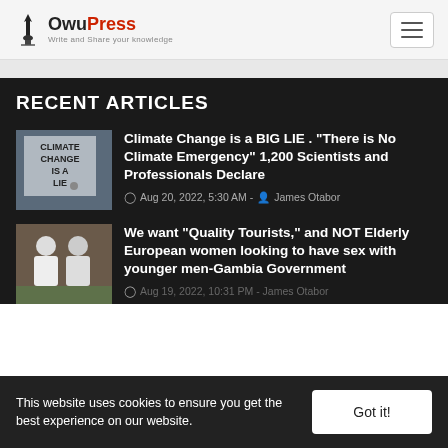OwuPress — Write and Share your knowledge
RECENT ARTICLES
[Figure (photo): Sign reading CLIMATE CHANGE IS A LIE]
Climate Change is a BIG LIE . "There is No Climate Emergency" 1,200 Scientists and Professionals Declare
Aug 20, 2022, 5:30 AM - James Otabor
[Figure (photo): Two people in white shirts seen from behind]
We want "Quality Tourists," and NOT Elderly European women looking to have sex with younger men-Gambia Government
This website uses cookies to ensure you get the best experience on our website.